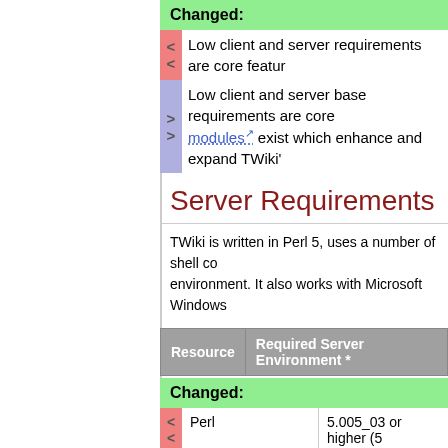Changed:
< < Low client and server requirements are core featur
> > Low client and server base requirements are core
> modules exist which enhance and expand TWiki'
Server Requirements
TWiki is written in Perl 5, uses a number of shell co environment. It also works with Microsoft Windows
| Resource | Required Server Environment * |
| --- | --- |
Changed:
| Resource | Required Server Environment * |
| --- | --- |
| Perl | 5.005_03 or higher (5 |
| Non-standard Perl modules | • Unix: Net::SMTP (
• Windows: Net::S |